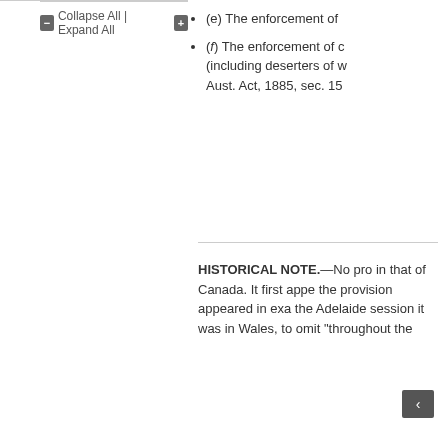Collapse All | Expand All
(e) The enforcement of
(f) The enforcement of c (including deserters of w Aust. Act, 1885, sec. 15
HISTORICAL NOTE.—No pro in that of Canada. It first appe the provision appeared in exa the Adelaide session it was in Wales, to omit “throughout the
[Figure (other): Navigation back button (left arrow) in dark grey square]